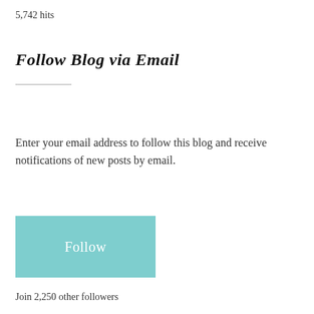5,742 hits
Follow Blog via Email
Enter your email address to follow this blog and receive notifications of new posts by email.
[Figure (other): A teal/mint colored button with the label 'Follow']
Join 2,250 other followers